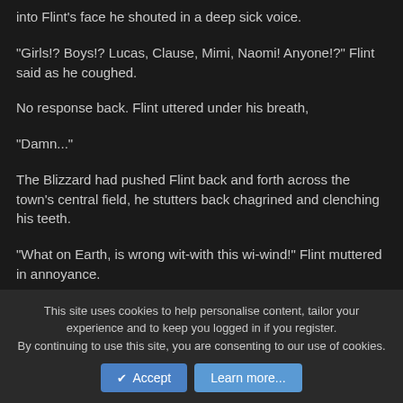into Flint's face he shouted in a deep sick voice.
"Girls!? Boys!? Lucas, Clause, Mimi, Naomi! Anyone!?" Flint said as he coughed.
No response back. Flint uttered under his breath,
"Damn..."
The Blizzard had pushed Flint back and forth across the town's central field, he stutters back chagrined and clenching his teeth.
"What on Earth, is wrong wit-with this wi-wind!" Flint muttered in annoyance.
This site uses cookies to help personalise content, tailor your experience and to keep you logged in if you register.
By continuing to use this site, you are consenting to our use of cookies.